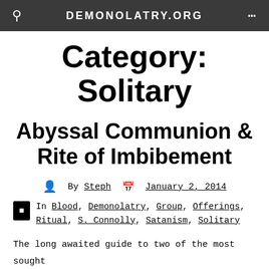DEMONOLATRY.ORG
Category: Solitary
Abyssal Communion & Rite of Imbibement
By Steph   January 2, 2014
In Blood, Demonolatry, Group, Offerings, Ritual, S. Connolly, Satanism, Solitary
The long awaited guide to two of the most sought after rites is finally here. The Abyssal Communion & Rite of Imbibement is a ritual guide for those